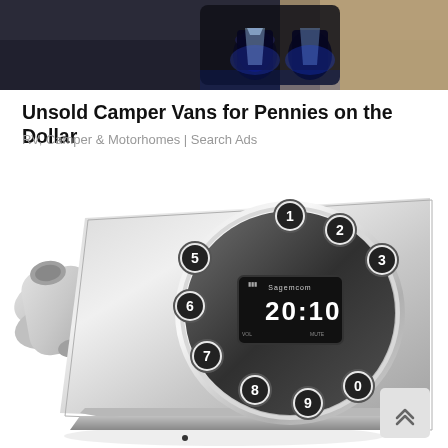[Figure (photo): Top banner ad image showing what appears to be a car interior with cup holders and blue lighting]
Unsold Camper Vans for Pennies on the Dollar
RV, Camper & Motorhomes | Search Ads
[Figure (photo): Large product photo of a retro-style silver cordless landline telephone (Sagemcom brand) with round keypad layout, digital display showing time 20:10, chrome accents, and a handset on the left side]
[Figure (other): Scroll up button icon in a light grey rounded square in the bottom right corner]